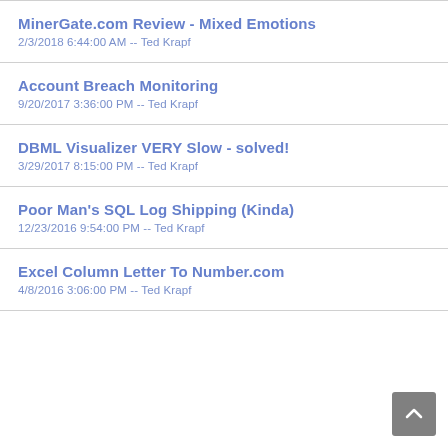MinerGate.com Review - Mixed Emotions
2/3/2018 6:44:00 AM -- Ted Krapf
Account Breach Monitoring
9/20/2017 3:36:00 PM -- Ted Krapf
DBML Visualizer VERY Slow - solved!
3/29/2017 8:15:00 PM -- Ted Krapf
Poor Man's SQL Log Shipping (Kinda)
12/23/2016 9:54:00 PM -- Ted Krapf
Excel Column Letter To Number.com
4/8/2016 3:06:00 PM -- Ted Krapf